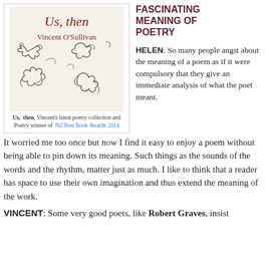[Figure (illustration): Book cover of 'Us, then' by Vincent O'Sullivan with illustrated animals/creatures]
Us, then, Vincent's latest poetry collection and Poetry winner of NZ Post Book Awards 2014
FASCINATING MEANING OF POETRY
HELEN: So many people angst about the meaning of a poem as if it were compulsory that they give an immediate analysis of what the poet meant. It worried me too once but now I find it easy to enjoy a poem without being able to pin down its meaning. Such things as the sounds of the words and the rhythm, matter just as much. I like to think that a reader has space to use their own imagination and thus extend the meaning of the work.
VINCENT: Some very good poets, like Robert Graves, insist